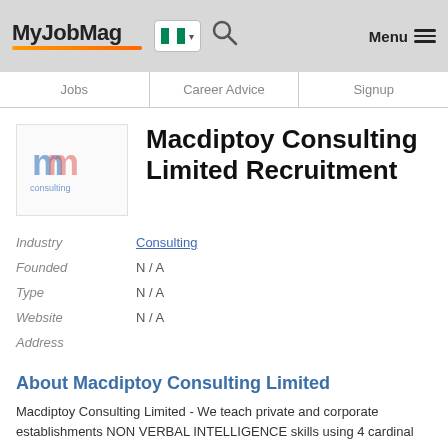MyJobMag
Jobs | Career Advice | Signup
[Figure (logo): Macdiptoy Consulting logo - stylized 'm' letters with consulting text]
Macdiptoy Consulting Limited Recruitment
Industry: Consulting
Founded: N / A
Type: N / A
Website: N / A
Address:
About Macdiptoy Consulting Limited
Macdiptoy Consulting Limited - We teach private and corporate establishments NON VERBAL INTELLIGENCE skills using 4 cardinal